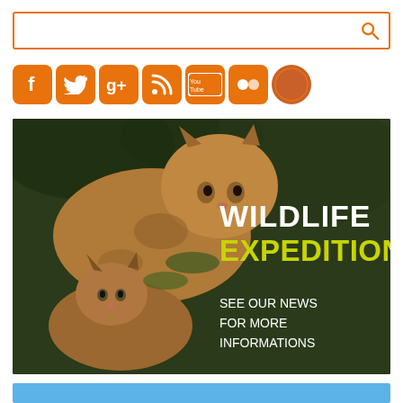[Figure (screenshot): Search input box with orange border and orange magnifying glass icon on the right]
[Figure (infographic): Row of orange social media icons: Facebook, Twitter, Google+, RSS, YouTube, Flickr, and a circular wildlife/nature icon]
[Figure (photo): Banner image showing two lynx cats on a dark green forest background with white text 'WILDLIFE' and yellow-green text 'EXPEDITIONS' and white subtext 'SEE OUR NEWS FOR MORE INFORMATIONS']
[Figure (other): Light blue horizontal bar at the bottom of the page]